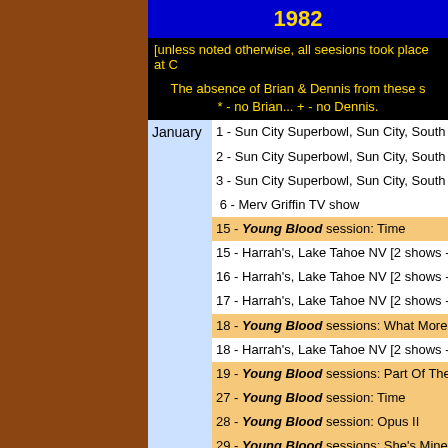1982
[unless noted otherwise, all seesions took place at C
The absence of Brian & Dennis from these s
* - no Brian... + - no Dennis.
| Month | Events |
| --- | --- |
| January | 1 - Sun City Superbowl, Sun City, South A |
|  | 2 - Sun City Superbowl, Sun City, South A |
|  | 3 - Sun City Superbowl, Sun City, South A |
|  | 6 - Merv Griffin TV show |
|  | 15 - Young Blood session: Time |
|  | 15 - Harrah's, Lake Tahoe NV [2 shows - w |
|  | 16 - Harrah's, Lake Tahoe NV [2 shows - w |
|  | 17 - Harrah's, Lake Tahoe NV [2 shows - w |
|  | 18 - Young Blood sessions: What More Ca |
|  | 18 - Harrah's, Lake Tahoe NV [2 shows - v |
|  | 19 - Young Blood sessions: Part Of The Ti |
|  | 27 - Young Blood session: Time |
|  | 28 - Young Blood session: Opus II |
|  | 29 - Young Blood sessions: She's Mine/Go |
|  | 31 - Berkeley Community Theater, Berkele |
|  | ??  - Mike Love/Adrian Baker sessions: Su
     Summertime Girl [Baker's home studi |
| February | 1 - Young Blood sessions: It's Too Earl |